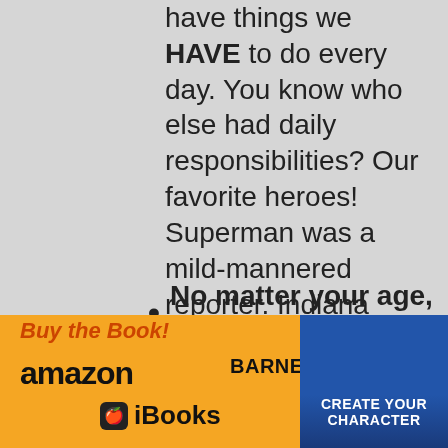have things we HAVE to do every day. You know who else had daily responsibilities? Our favorite heroes! Superman was a mild-mannered reporter. Indiana Jones was an Archaeology professor. Buffy the vampire slayer was a Sunnydale High School cheerleader! Level Up Your Life shows you how you can do awesome things and still live like a normal human being.
No matter your age, inc…
Buy the Book!
[Figure (logo): Amazon logo with orange arrow underneath]
[Figure (logo): Barnes & Noble logo]
[Figure (logo): Apple iBooks logo]
[Figure (logo): NF badge with Create Your Character text on blue background]